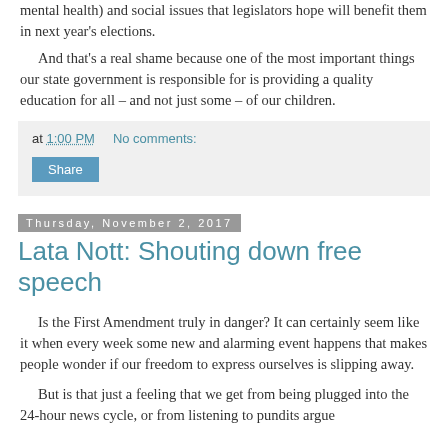mental health) and social issues that legislators hope will benefit them in next year's elections.
And that's a real shame because one of the most important things our state government is responsible for is providing a quality education for all – and not just some – of our children.
at 1:00 PM   No comments:  Share
Thursday, November 2, 2017
Lata Nott: Shouting down free speech
Is the First Amendment truly in danger? It can certainly seem like it when every week some new and alarming event happens that makes people wonder if our freedom to express ourselves is slipping away.
But is that just a feeling that we get from being plugged into the 24-hour news cycle, or from listening to pundits argue